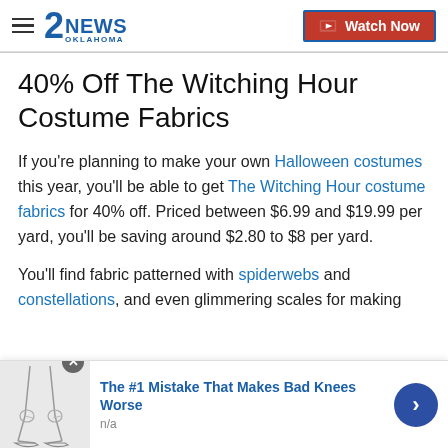2NEWS OKLAHOMA — Watch Now
40% Off The Witching Hour Costume Fabrics
If you're planning to make your own Halloween costumes this year, you'll be able to get The Witching Hour costume fabrics for 40% off. Priced between $6.99 and $19.99 per yard, you'll be saving around $2.80 to $8 per yard.
You'll find fabric patterned with spiderwebs and constellations, and even glimmering scales for making
[Figure (advertisement): Ad banner: sketch illustration of legs/knees; text 'The #1 Mistake That Makes Bad Knees Worse', subtext 'n/a', blue arrow button on right, close X button top-right]